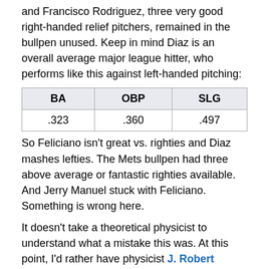and Francisco Rodriguez, three very good right-handed relief pitchers, remained in the bullpen unused. Keep in mind Diaz is an overall average major league hitter, who performs like this against left-handed pitching:
| BA | OBP | SLG |
| --- | --- | --- |
| .323 | .360 | .497 |
So Feliciano isn't great vs. righties and Diaz mashes lefties. The Mets bullpen had three above average or fantastic righties available. And Jerry Manuel stuck with Feliciano. Something is wrong here.
It doesn't take a theoretical physicist to understand what a mistake this was. At this point, I'd rather have physicist J. Robert Oppenheimer serve as Mets manager, and he's been dead for forty-two years.